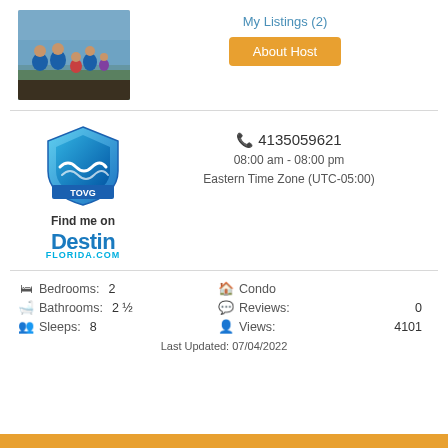[Figure (photo): Family group photo outdoors near water]
My Listings (2)
About Host
[Figure (logo): TOVG shield logo with wave, blue gradient]
Find me on
[Figure (logo): DestinFlorida.com logo in blue text]
4135059621
08:00 am - 08:00 pm
Eastern Time Zone (UTC-05:00)
Bedrooms: 2
Condo
Bathrooms: 2 ½
Reviews: 0
Sleeps: 8
Views: 4101
Last Updated: 07/04/2022